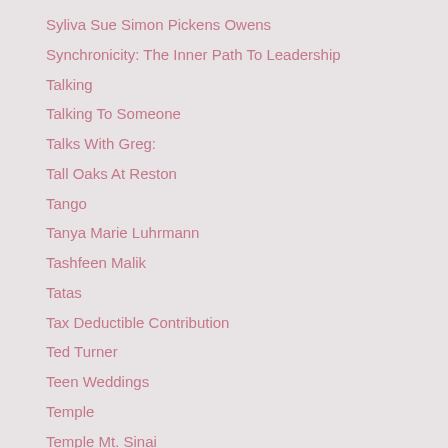Syliva Sue Simon Pickens Owens
Synchronicity: The Inner Path To Leadership
Talking
Talking To Someone
Talks With Greg:
Tall Oaks At Reston
Tango
Tanya Marie Luhrmann
Tashfeen Malik
Tatas
Tax Deductible Contribution
Ted Turner
Teen Weddings
Temple
Temple Mt. Sinai
Temple Rodef Shalom
Terrorism
Texarkana
Texas